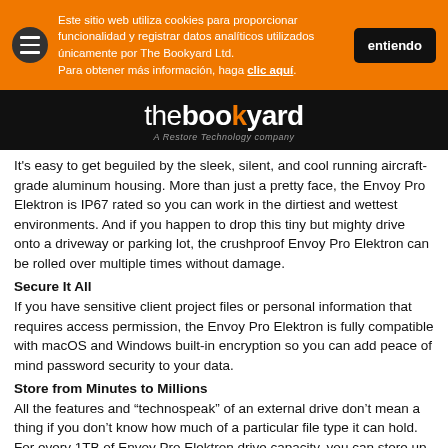Este sitio web utiliza cookies para proporcionar funcionalidad y registrar datos analíticos utilizados únicamente por The Bookyard Ltd.
Para obtener más información, haga clic aquí.
[Figure (logo): The Bookyard - A Restore Technology company logo in white on black background]
It's easy to get beguiled by the sleek, silent, and cool running aircraft-grade aluminum housing. More than just a pretty face, the Envoy Pro Elektron is IP67 rated so you can work in the dirtiest and wettest environments. And if you happen to drop this tiny but mighty drive onto a driveway or parking lot, the crushproof Envoy Pro Elektron can be rolled over multiple times without damage.
Secure It All
If you have sensitive client project files or personal information that requires access permission, the Envoy Pro Elektron is fully compatible with macOS and Windows built-in encryption so you can add peace of mind password security to your data.
Store from Minutes to Millions
All the features and “technospeak” of an external drive don’t mean a thing if you don’t know how much of a particular file type it can hold. For every 1TB of Envoy Pro Elektron drive capacity, you can store up to any of the following⁴:
200,000 photos
250,000 standard quality songs